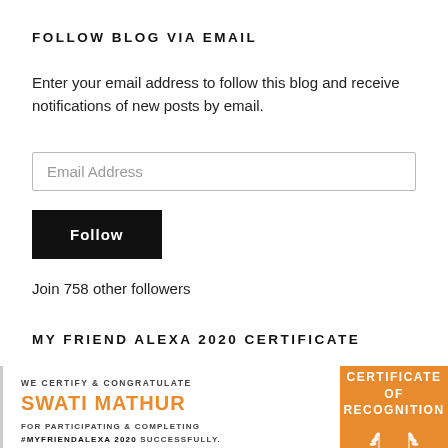FOLLOW BLOG VIA EMAIL
Enter your email address to follow this blog and receive notifications of new posts by email.
Email Address
Follow
Join 758 other followers
MY FRIEND ALEXA 2020 CERTIFICATE
[Figure (other): Certificate image showing 'We Certify & Congratulate Swati Mathur for participating & completing #MyFriendAlexa 2020 successfully.' alongside an orange 'Certificate of Recognition' badge with laurel leaves.]